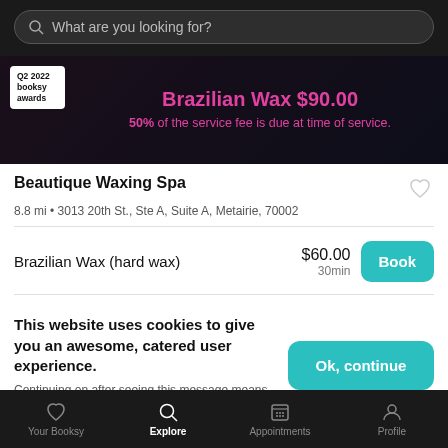[Figure (screenshot): Search bar with placeholder text 'What are you looking for?' on dark background]
[Figure (screenshot): Banner showing 'Q2 2022 booksy awards' badge and text 'Brazilian Wax $90.00 - 50% of the service fee is due at time of service.' in pink on dark background]
Beautique Waxing Spa
8.8 mi • 3013 20th St., Ste A, Suite A, Metairie, 70002
Brazilian Wax (hard wax)
$60.00
30min
Book
This website uses cookies to give you an awesome, catered user experience.
Continuing on after seeing this message means that you're cool with that.
Ok, continue
Your Booksy   Explore   Appointments   Profile